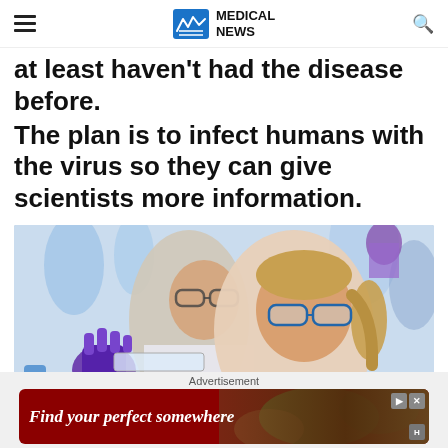MEDICAL NEWS
at least haven't had the disease before.
The plan is to infect humans with the virus so they can give scientists more information.
[Figure (photo): Two scientists in safety goggles examining a specimen in a laboratory setting. A woman with blonde hair in a ponytail is in the foreground, and a man is behind her. Purple lab gloves visible.]
Advertisement
[Figure (other): Advertisement banner: 'Find your perfect somewhere' on a dark red background with nature imagery]